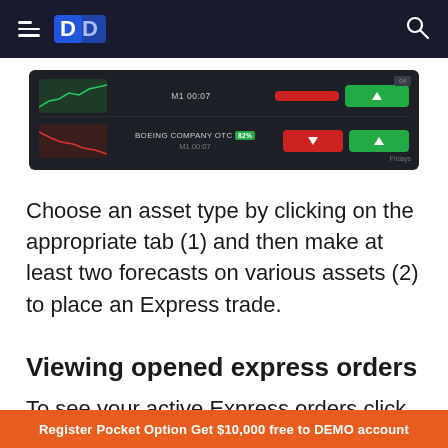Navigation bar with hamburger menu, Pocket Option logo, and search icon
[Figure (screenshot): Trading interface showing two asset rows: one with M1 00:07 time label with red sell and green buy buttons, and another showing BOEING COMPANY OTC with a percentage badge, M1 00:07 time, red down-arrow sell button and green up-arrow buy button. Corner badges show additional labels.]
Choose an asset type by clicking on the appropriate tab (1) and then make at least two forecasts on various assets (2) to place an Express trade.
Viewing opened express orders
To see your active Express orders click on the "Express" button on the right-side panel of the
Register Pocket Option Get $10,000 free to DEMO account